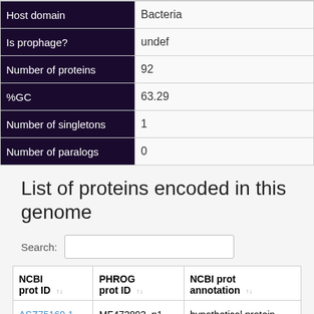| Field | Value |
| --- | --- |
| Host domain | Bacteria |
| Is prophage? | undef |
| Number of proteins | 92 |
| %GC | 63.29 |
| Number of singletons | 1 |
| Number of paralogs | 0 |
List of proteins encoded in this genome
Search:
| NCBI prot ID | PHROG prot ID | NCBI prot annotation |
| --- | --- | --- |
| ASZ75169.1 | MF472893_p1 | hypothetical protein |